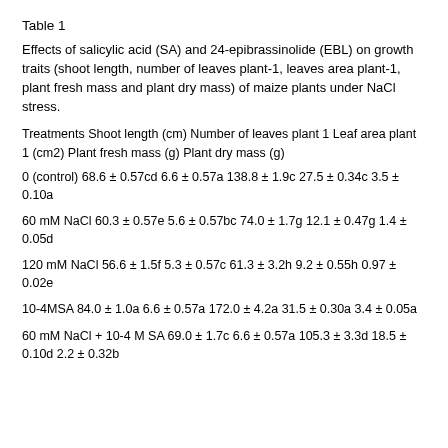Table 1
Effects of salicylic acid (SA) and 24-epibrassinolide (EBL) on growth traits (shoot length, number of leaves plant-1, leaves area plant-1, plant fresh mass and plant dry mass) of maize plants under NaCl stress.
| Treatments | Shoot length (cm) | Number of leaves plant 1 | Leaf area plant 1 (cm2) | Plant fresh mass (g) | Plant dry mass (g) |
| --- | --- | --- | --- | --- | --- |
| 0 (control) | 68.6 ± 0.57cd | 6.6 ± 0.57a | 138.8 ± 1.9c | 27.5 ± 0.34c | 3.5 ± 0.10a |
| 60 mM NaCl | 60.3 ± 0.57e | 5.6 ± 0.57bc | 74.0 ± 1.7g | 12.1 ± 0.47g | 1.4 ± 0.05d |
| 120 mM NaCl | 56.6 ± 1.5f | 5.3 ± 0.57c | 61.3 ± 3.2h | 9.2 ± 0.55h | 0.97 ± 0.02e |
| 10-4MSA | 84.0 ± 1.0a | 6.6 ± 0.57a | 172.0 ± 4.2a | 31.5 ± 0.30a | 3.4 ± 0.05a |
| 60 mM NaCl + 10-4 M SA | 69.0 ± 1.7c | 6.6 ± 0.57a | 105.3 ± 3.3d | 18.5 ± 0.10d | 2.2 ± 0.32b |